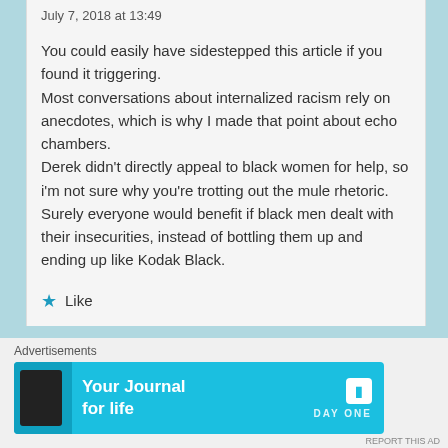July 7, 2018 at 13:49
You could easily have sidestepped this article if you found it triggering.
Most conversations about internalized racism rely on anecdotes, which is why I made that point about echo chambers.
Derek didn't directly appeal to black women for help, so i'm not sure why you're trotting out the mule rhetoric.
Surely everyone would benefit if black men dealt with their insecurities, instead of bottling them up and ending up like Kodak Black.
Like
Advertisements
[Figure (other): Day One app advertisement banner with phone mockup, text 'Your Journal for life', and Day One logo]